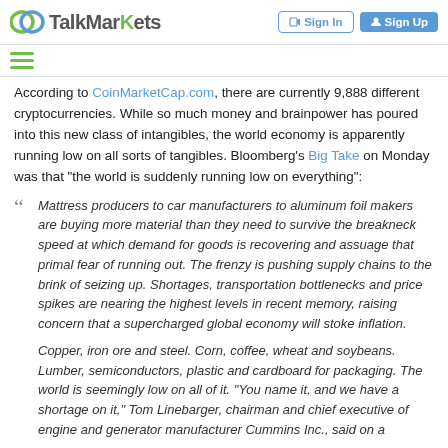TalkMarkets | Sign In | Sign Up
According to CoinMarketCap.com, there are currently 9,888 different cryptocurrencies. While so much money and brainpower has poured into this new class of intangibles, the world economy is apparently running low on all sorts of tangibles. Bloomberg's Big Take on Monday was that "the world is suddenly running low on everything":
Mattress producers to car manufacturers to aluminum foil makers are buying more material than they need to survive the breakneck speed at which demand for goods is recovering and assuage that primal fear of running out. The frenzy is pushing supply chains to the brink of seizing up. Shortages, transportation bottlenecks and price spikes are nearing the highest levels in recent memory, raising concern that a supercharged global economy will stoke inflation.
Copper, iron ore and steel. Corn, coffee, wheat and soybeans. Lumber, semiconductors, plastic and cardboard for packaging. The world is seemingly low on all of it. "You name it, and we have a shortage on it," Tom Linebarger, chairman and chief executive of engine and generator manufacturer Cummins Inc., said on a